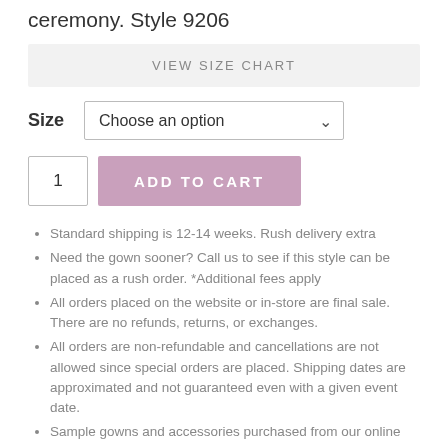ceremony. Style 9206
VIEW SIZE CHART
Size   Choose an option
1   ADD TO CART
Standard shipping is 12-14 weeks. Rush delivery extra
Need the gown sooner? Call us to see if this style can be placed as a rush order. *Additional fees apply
All orders placed on the website or in-store are final sale. There are no refunds, returns, or exchanges.
All orders are non-refundable and cancellations are not allowed since special orders are placed. Shipping dates are approximated and not guaranteed even with a given event date.
Sample gowns and accessories purchased from our online boutique are non-refundable, and non-exchangeable, and are